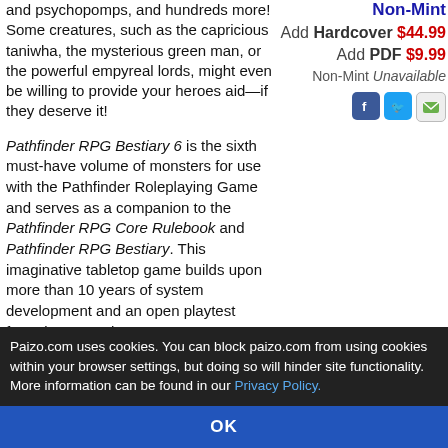and psychopomps, and hundreds more! Some creatures, such as the capricious taniwha, the mysterious green man, or the powerful empyreal lords, might even be willing to provide your heroes aid—if they deserve it!
Non-Mint
Add Hardcover $44.99
Add PDF $9.99
Non-Mint Unavailable
Pathfinder RPG Bestiary 6 is the sixth must-have volume of monsters for use with the Pathfinder Roleplaying Game and serves as a companion to the Pathfinder RPG Core Rulebook and Pathfinder RPG Bestiary. This imaginative tabletop game builds upon more than 10 years of system development and an open playtest featuring more than 50,000 gamers to create a cutting-edge RPG experience that brings the all-time best-selling set of fantasy rules
Paizo.com uses cookies. You can block paizo.com from using cookies within your browser settings, but doing so will hinder site functionality. More information can be found in our Privacy Policy.
OK